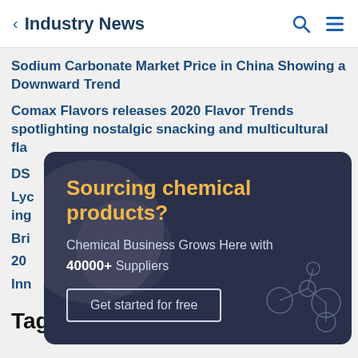Industry News
Sodium Carbonate Market Price in China Showing a Downward Trend
Comax Flavors releases 2020 Flavor Trends spotlighting nostalgic snacking and multicultural fla…
DS…
Lyc… ing…
Bri…
20…
Inn…
[Figure (infographic): Advertisement overlay card with dark navy background. Headline: 'Sourcing chemical products?' in gold/amber. Subtext: 'Chemical Business Grows Here with 40000+ Suppliers'. Button: 'Get started for free'. Decorative molecule diagram in lower right.]
Tag